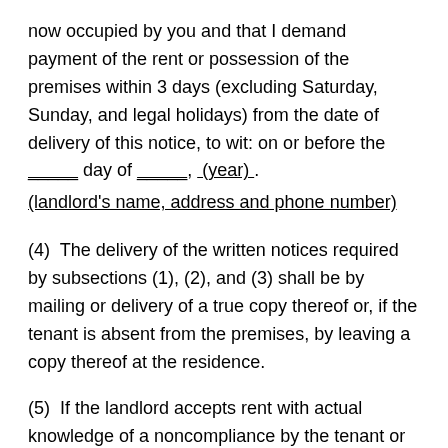now occupied by you and that I demand payment of the rent or possession of the premises within 3 days (excluding Saturday, Sunday, and legal holidays) from the date of delivery of this notice, to wit: on or before the _____ day of _____, (year).
(landlord's name, address and phone number)
(4)  The delivery of the written notices required by subsections (1), (2), and (3) shall be by mailing or delivery of a true copy thereof or, if the tenant is absent from the premises, by leaving a copy thereof at the residence.
(5)  If the landlord accepts rent with actual knowledge of a noncompliance by the tenant or accepts performance by the tenant of any other provision of the rental agreement that is at variance with its provisions, or if the tenant pays rent with actual knowledge of a noncompliance by the